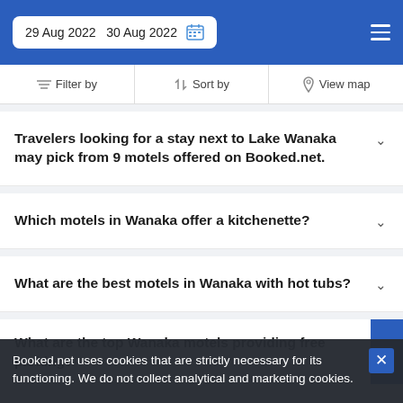29 Aug 2022  30 Aug 2022
Filter by | Sort by | View map
Travelers looking for a stay next to Lake Wanaka may pick from 9 motels offered on Booked.net.
Which motels in Wanaka offer a kitchenette?
What are the best motels in Wanaka with hot tubs?
What are the top Wanaka motels providing free parking?
Booked.net uses cookies that are strictly necessary for its functioning. We do not collect analytical and marketing cookies.